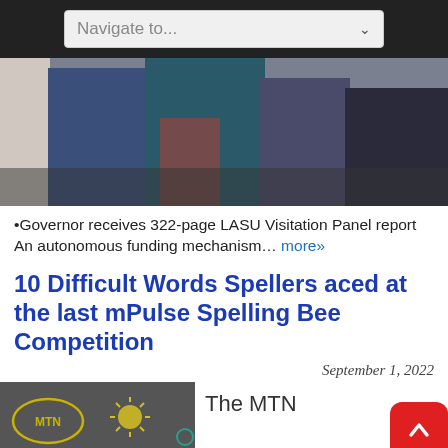Navigate to...
[Figure (photo): Group of people standing together, photo cropped showing torsos and legs]
•Governor receives 322-page LASU Visitation Panel report An autonomous funding mechanism… more»
10 Difficult Words Spellers aced at the last mPulse Spelling Bee Competition
September 1, 2022
[Figure (photo): MTN branded image with MTN logo oval and sun/star drawings on dark background]
The MTN